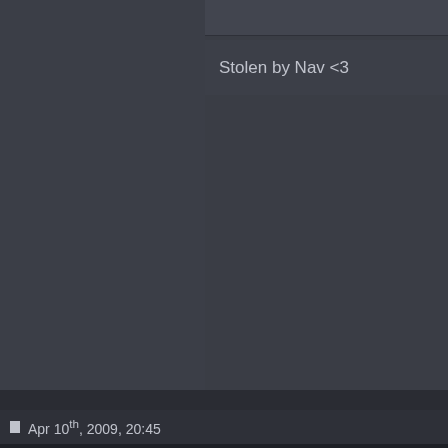Stolen by Nav <3
Apr 10th, 2009, 20:45